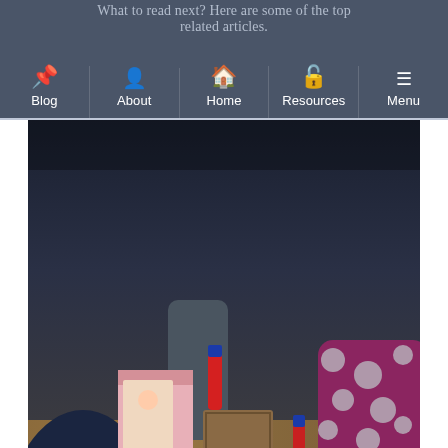What to read next? Here are some of the top related articles.
Blog | About | Home | Resources | Menu
[Figure (photo): Children sitting at a table doing a craft activity with glue sticks and paper, viewed from above. One child wears a blue and yellow striped sock, another wears a purple polka-dot top.]
5 Surprising Facts About Military Child Care That Can Hurt Your Wallet
08/02/2022 /// No Comments
Child care decisions can be complex. This can be especially so for military parents or guardians who are making them under time constraints while transferring.